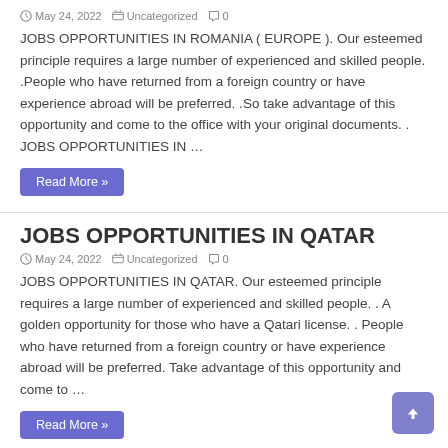May 24, 2022  Uncategorized  0
JOBS OPPORTUNITIES IN ROMANIA ( EUROPE ). Our esteemed principle requires a large number of experienced and skilled people. .People who have returned from a foreign country or have experience abroad will be preferred. .So take advantage of this opportunity and come to the office with your original documents. . JOBS OPPORTUNITIES IN …
Read More »
JOBS OPPORTUNITIES IN QATAR
May 24, 2022  Uncategorized  0
JOBS OPPORTUNITIES IN QATAR. Our esteemed principle requires a large number of experienced and skilled people. . A golden opportunity for those who have a Qatari license. . People who have returned from a foreign country or have experience abroad will be preferred. Take advantage of this opportunity and come to …
Read More »